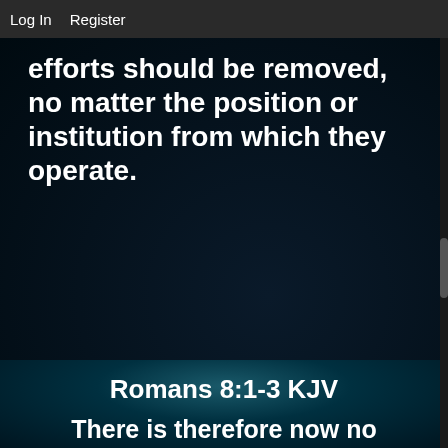Log In   Register
[Figure (illustration): Dark navy background image with bold white text reading: 'efforts should be removed, no matter the position or institution from which they operate.']
[Figure (illustration): Dark teal/blue background image with bold white text: 'Romans 8:1-3 KJV' as title, and 'There is therefore now no' as beginning of verse text.]